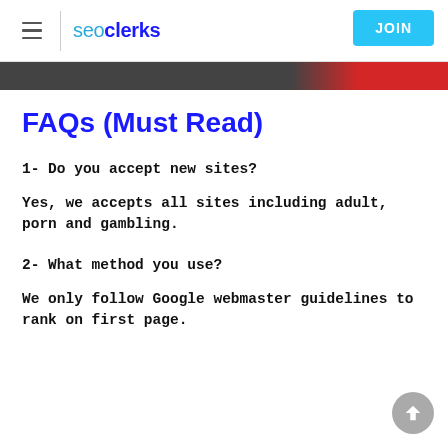seoclerks  JOIN
[Figure (screenshot): Partial image strip visible at top of content area, dark and red tones]
FAQs (Must Read)
1- Do you accept new sites?
Yes, we accepts all sites including adult, porn and gambling.
2- What method you use?
We only follow Google webmaster guidelines to rank on first page.